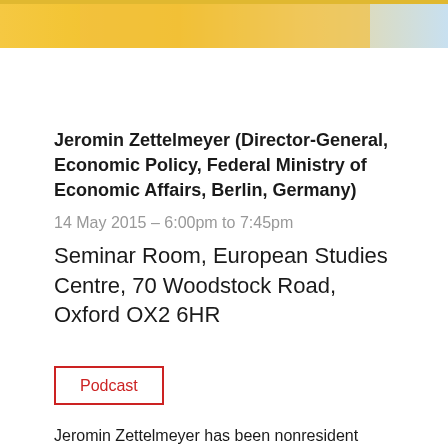[Figure (photo): Partial color photograph at top of page, cropped, showing yellow/gold tones]
Jeromin Zettelmeyer (Director-General, Economic Policy, Federal Ministry of Economic Affairs, Berlin, Germany)
14 May 2015 – 6:00pm to 7:45pm
Seminar Room, European Studies Centre, 70 Woodstock Road, Oxford OX2 6HR
Podcast
Jeromin Zettelmeyer has been nonresident senior fellow at the Peterson Institute for International Economics since January 2013 (on leave for public service since April 2014). He is chief economist… Read